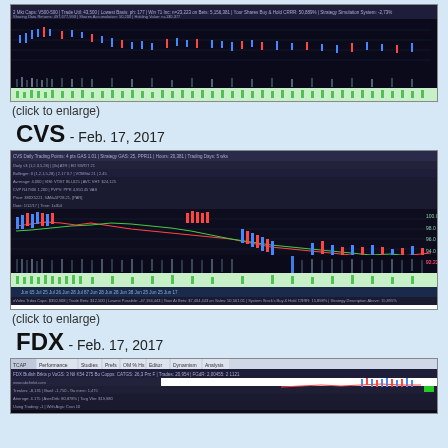[Figure (screenshot): Stock chart screenshot for an unnamed ticker, showing candlestick price chart with volume bars and green indicator panel at bottom]
(click to enlarge)
CVS  - Feb. 17, 2017
[Figure (screenshot): CVS stock chart screenshot showing candlestick price chart with red and green moving average lines, volume bars, and green indicator panel at bottom. Date: Feb. 17, 2017]
(click to enlarge)
FDX  - Feb. 17, 2017
[Figure (screenshot): FDX stock chart screenshot showing candlestick price data, partial view at bottom of page. Date: Feb. 17, 2017]